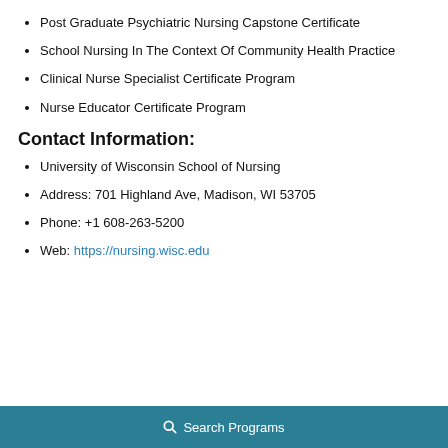Post Graduate Psychiatric Nursing Capstone Certificate
School Nursing In The Context Of Community Health Practice
Clinical Nurse Specialist Certificate Program
Nurse Educator Certificate Program
Contact Information:
University of Wisconsin School of Nursing
Address: 701 Highland Ave, Madison, WI 53705
Phone: +1 608-263-5200
Web: https://nursing.wisc.edu
Search Programs